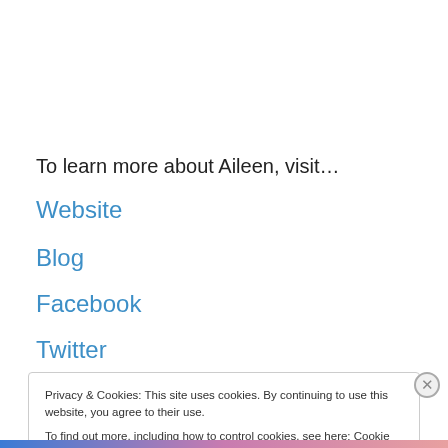To learn more about Aileen, visit…
Website
Blog
Facebook
Twitter
Privacy & Cookies: This site uses cookies. By continuing to use this website, you agree to their use.
To find out more, including how to control cookies, see here: Cookie Policy
Close and accept